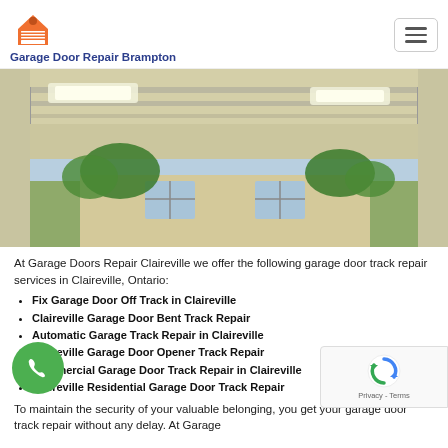Garage Door Repair Brampton
[Figure (photo): Interior view of an open garage door looking outside toward a building with windows and trees]
At Garage Doors Repair Claireville we offer the following garage door track repair services in Claireville, Ontario:
Fix Garage Door Off Track in Claireville
Claireville Garage Door Bent Track Repair
Automatic Garage Track Repair in Claireville
Claireville Garage Door Opener Track Repair
Commercial Garage Door Track Repair in Claireville
Claireville Residential Garage Door Track Repair
To maintain the security of your valuable belonging, you get your garage door track repair without any delay. At Garage